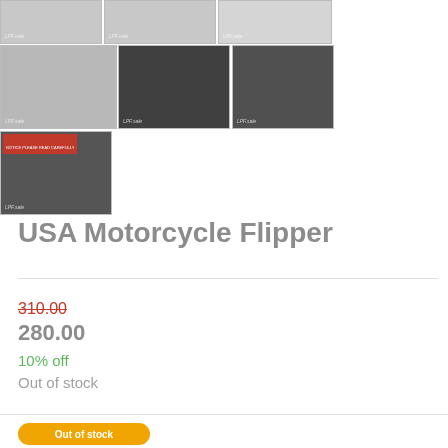[Figure (photo): Grid of product photos showing USA Motorcycle Flipper device from multiple angles]
USA Motorcycle Flipper
310.00
280.00
10% off
Out of stock
Out of stock